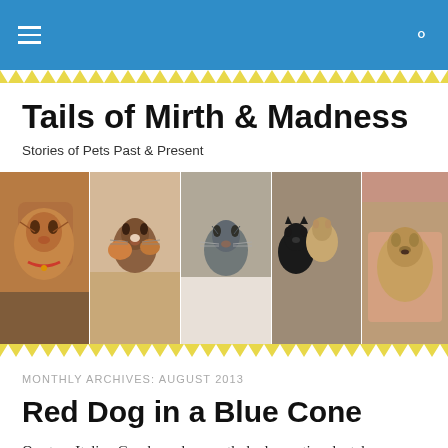Tails of Mirth & Madness — site navigation header
Tails of Mirth & Madness
Stories of Pets Past & Present
[Figure (photo): A horizontal strip of five pet photos showing various cats and a dog]
MONTHLY ARCHIVES: AUGUST 2013
Red Dog in a Blue Cone
Our two Italian Greyhounds recently had a routine dental